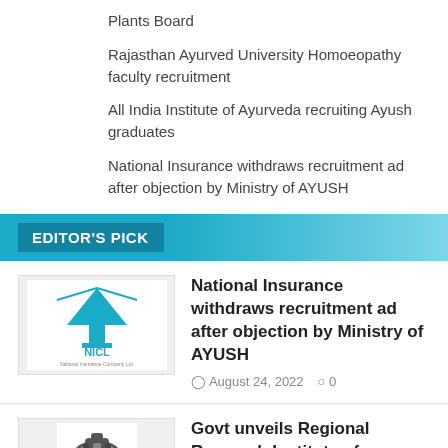Plants Board
Rajasthan Ayurved University Homoeopathy faculty recruitment
All India Institute of Ayurveda recruiting Ayush graduates
National Insurance withdraws recruitment ad after objection by Ministry of AYUSH
EDITOR'S PICK
[Figure (logo): NICL - National Insurance Company Ltd. logo with lighthouse icon]
National Insurance withdraws recruitment ad after objection by Ministry of AYUSH
August 24, 2022   0
[Figure (logo): Ashoka Emblem / Government of India logo]
Govt unveils Regional Research Institute of Homoeopathy in Mumbai
August 3, 2022   0